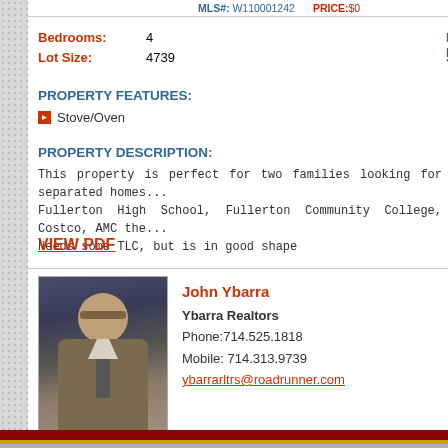MLS#: W110001242  PRICE: $0
Bedrooms: 4   Full Baths:
Lot Size: 4739   Sqft:
PROPERTY FEATURES:
Stove/Oven
PROPERTY DESCRIPTION:
This property is perfect for two families looking for separated homes... Fullerton High School, Fullerton Community College, Costco, AMC the... Needs some TLC, but is in good shape
VIEW PDF
[Figure (photo): Headshot of real estate agent John Ybarra in suit and tie]
John Ybarra
Ybarra Realtors
Phone:714.525.1818
Mobile: 714.313.9739
ybarrarltrs@roadrunner.com
All information deemed reliable but not guaranteed.
Home | Recent Flyers | Pricing | Samples | Subscribe